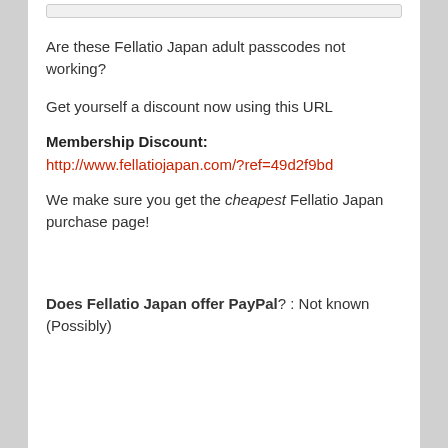Are these Fellatio Japan adult passcodes not working?
Get yourself a discount now using this URL
Membership Discount:
http://www.fellatiojapan.com/?ref=49d2f9bd
We make sure you get the cheapest Fellatio Japan purchase page!
Does Fellatio Japan offer PayPal? : Not known (Possibly)